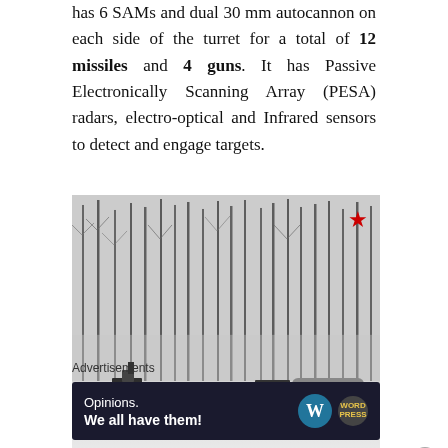has 6 SAMs and dual 30 mm autocannon on each side of the turret for a total of 12 missiles and 4 guns. It has Passive Electronically Scanning Array (PESA) radars, electro-optical and Infrared sensors to detect and engage targets.
[Figure (photo): Military vehicles including what appears to be an air defense system on trucks, photographed in a snowy winter setting with bare birch trees in the background. A red star watermark is visible in the upper right corner of the image.]
Advertisements
[Figure (screenshot): WordPress advertisement banner with dark background reading 'Opinions. We all have them!' with WordPress W logo and another circular logo on the right side.]